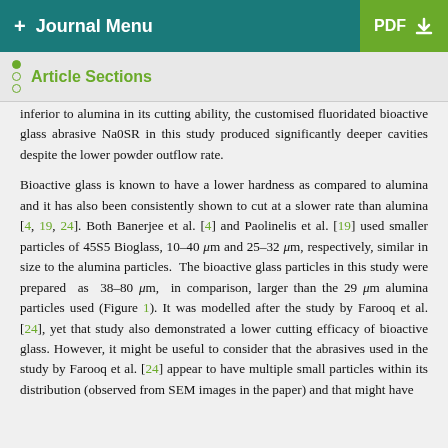+ Journal Menu   PDF ↓
Article Sections
inferior to alumina in its cutting ability, the customised fluoridated bioactive glass abrasive Na0SR in this study produced significantly deeper cavities despite the lower powder outflow rate.
Bioactive glass is known to have a lower hardness as compared to alumina and it has also been consistently shown to cut at a slower rate than alumina [4, 19, 24]. Both Banerjee et al. [4] and Paolinelis et al. [19] used smaller particles of 45S5 Bioglass, 10–40 μm and 25–32 μm, respectively, similar in size to the alumina particles. The bioactive glass particles in this study were prepared as 38–80 μm, in comparison, larger than the 29 μm alumina particles used (Figure 1). It was modelled after the study by Farooq et al. [24], yet that study also demonstrated a lower cutting efficacy of bioactive glass. However, it might be useful to consider that the abrasives used in the study by Farooq et al. [24] appear to have multiple small particles within its distribution (observed from SEM images in the paper) and that might have